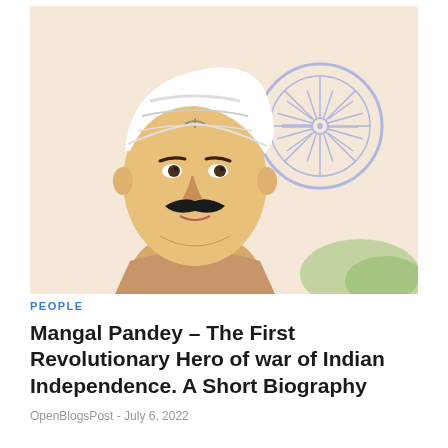[Figure (illustration): Illustrated portrait of Mangal Pandey wearing a white turban with stripes, mustache, with an Indian flag Ashoka Chakra wheel visible in the background on the right side against a pinkish/cream background with green accents at the bottom right.]
PEOPLE
Mangal Pandey – The First Revolutionary Hero of war of Indian Independence. A Short Biography
OpenBlogsPost - July 6, 2022